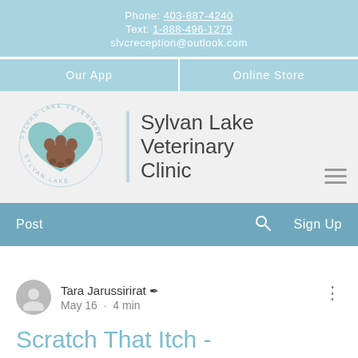Phone: 403-887-4240
Text: 1-888-496-1279
slvcreception@outlook.com
Our App    Online Store
[Figure (logo): Sylvan Lake Veterinary Clinic logo with heart and paw print, text 'Sylvan Lake Veterinary Clinic']
Post    [search icon]    Sign Up
Tara Jarussirirat ✏ May 16 · 4 min
Scratch That Itch -